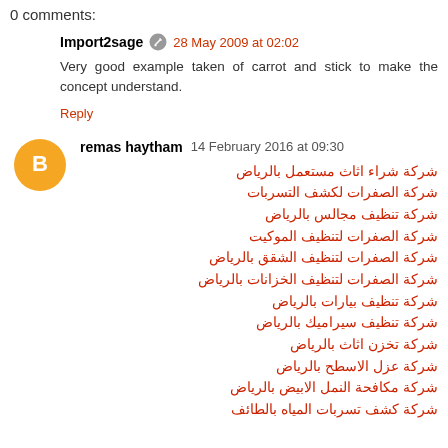0 comments:
Import2sage  28 May 2009 at 02:02
Very good example taken of carrot and stick to make the concept understand.
Reply
remas haytham  14 February 2016 at 09:30
شركة شراء اثاث مستعمل بالرياض
شركة الصفرات لكشف التسربات
شركة تنظيف مجالس بالرياض
شركة الصفرات لتنظيف الموكيت
شركة الصفرات لتنظيف الشقق بالرياض
شركة الصفرات لتنظيف الخزانات بالرياض
شركة تنظيف بيارات بالرياض
شركة تنظيف سيراميك بالرياض
شركة تخزن اثاث بالرياض
شركة عزل الاسطح بالرياض
شركة مكافحة النمل الابيض بالرياض
شركة كشف تسربات المياه بالطائف